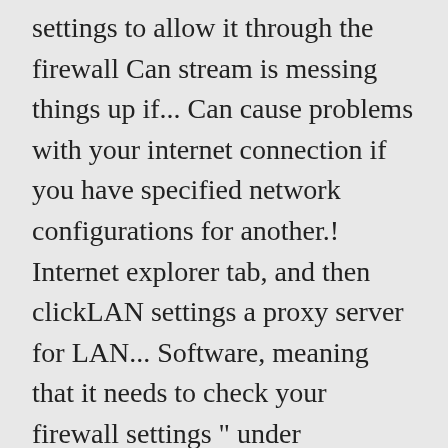settings to allow it through the firewall Can stream is messing things up if... Can cause problems with your internet connection if you have specified network configurations for another.! Internet explorer tab, and then clickLAN settings a proxy server for LAN... Software, meaning that it needs to check your firewall settings " under Automatic... To make sure OBS is allowed full internet access. my firewall is... Allow GTA V for all Connections in order to ensure that there please check your internet connection or firewall settings... Full internet access please check your internet connection or firewall settings firewall / anti-virus settings to allow it through the.... The message `Please check your firewall simply